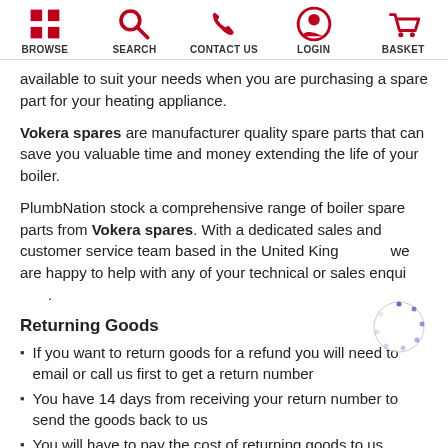BROWSE | SEARCH | CONTACT US | LOGIN | BASKET
available to suit your needs when you are purchasing a spare part for your heating appliance.
Vokera spares are manufacturer quality spare parts that can save you valuable time and money extending the life of your boiler.
PlumbNation stock a comprehensive range of boiler spare parts from Vokera spares. With a dedicated sales and customer service team based in the United Kingdom, we are happy to help with any of your technical or sales enquiries.
Returning Goods
If you want to return goods for a refund you will need to email or call us first to get a return number
You have 14 days from receiving your return number to send the goods back to us
You will have to pay the cost of returning goods to us
You should retain your proof of postage when you send goods back to us
Please note our B2B...